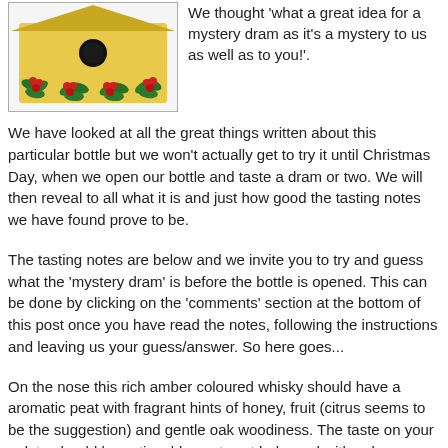[Figure (illustration): A yellow birdhouse decorated with green holly leaves and red berries, with a circular entrance hole at the top center.]
We thought 'what a great idea for a mystery dram as it's a mystery to us as well as to you!'.
We have looked at all the great things written about this particular bottle but we won't actually get to try it until Christmas Day, when we open our bottle and taste a dram or two. We will then reveal to all what it is and just how good the tasting notes we have found prove to be.
The tasting notes are below and we invite you to try and guess what the 'mystery dram' is before the bottle is opened. This can be done by clicking on the 'comments' section at the bottom of this post once you have read the notes, following the instructions and leaving us your guess/answer. So here goes...
On the nose this rich amber coloured whisky should have a aromatic peat with fragrant hints of honey, fruit (citrus seems to be the suggestion) and gentle oak woodiness. The taste on your palate should be noticeably peaty yet balanced with oaky woodines and warm peppery spices. An 'extravagant and complex' finish is then what the notes suggest.